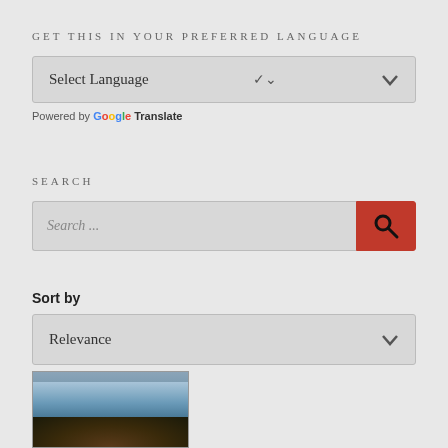GET THIS IN YOUR PREFERRED LANGUAGE
[Figure (screenshot): Select Language dropdown box with down arrow chevron]
Powered by Google Translate
SEARCH
[Figure (screenshot): Search input field with placeholder text 'Search ...' and red search button with magnifying glass icon]
Sort by
[Figure (screenshot): Relevance dropdown sort selector with down arrow chevron]
[Figure (photo): Street scene photo thumbnail showing buildings and a person in the foreground]